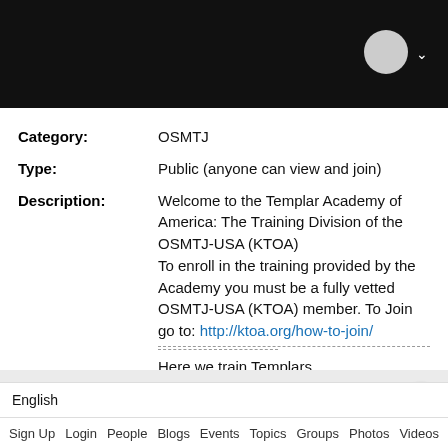[Navigation bar with avatar]
Category: OSMTJ
Type: Public (anyone can view and join)
Description: Welcome to the Templar Academy of America: The Training Division of the OSMTJ-USA (KTOA)
To enroll in the training provided by the Academy you must be a fully vetted OSMTJ-USA (KTOA) member. To Join go to: http://ktoa.org/how-to-join/
------------------------
Here we train Templars.
Recent Activities
There are no new feeds to view at this time.
English
Sign Up  Login  People  Blogs  Events  Topics  Groups  Photos  Videos